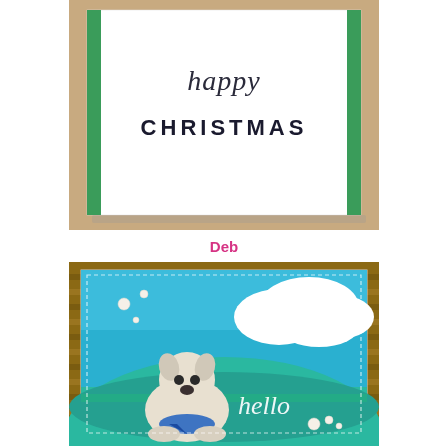[Figure (photo): Handmade Christmas card on brown kraft background, showing a white card with green glitter border strips on left and right sides, containing script text 'happy' above block letters 'CHRISTMAS' in dark ink]
Deb
[Figure (photo): Handmade greeting card featuring a white fluffy West Highland Terrier (Westie) puppy wearing a blue bandana bow, sitting on a teal/turquoise hillside with green grass die-cut, white cloud die-cut in upper right, blue sky background with pearl dots, and cursive 'hello' text in white on the teal hill. The card has a stitched border and sits against a wooden striped background.]